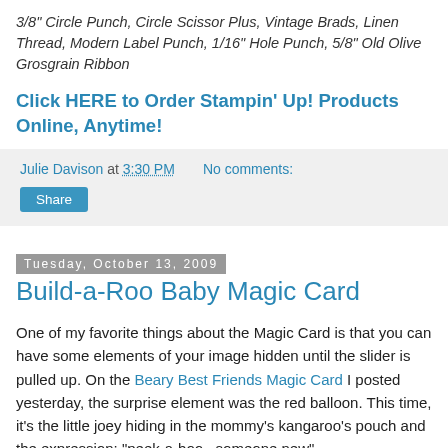3/8" Circle Punch, Circle Scissor Plus, Vintage Brads, Linen Thread, Modern Label Punch, 1/16" Hole Punch, 5/8" Old Olive Grosgrain Ribbon
Click HERE to Order Stampin' Up! Products Online, Anytime!
Julie Davison at 3:30 PM   No comments:
Share
Tuesday, October 13, 2009
Build-a-Roo Baby Magic Card
One of my favorite things about the Magic Card is that you can have some elements of your image hidden until the slider is pulled up. On the Beary Best Friends Magic Card I posted yesterday, the surprise element was the red balloon. This time, it's the little joey hiding in the mommy's kangaroo's pouch and the expression: "peek-a-boo...someone new".